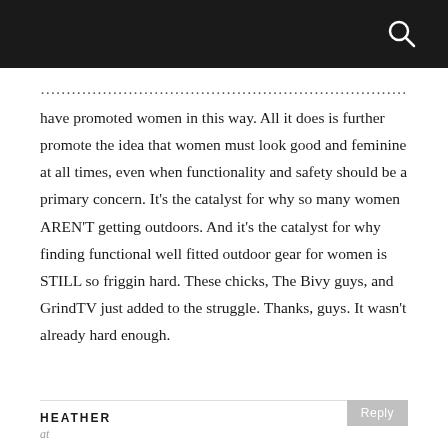have promoted women in this way. All it does is further promote the idea that women must look good and feminine at all times, even when functionality and safety should be a primary concern. It’s the catalyst for why so many women AREN’T getting outdoors. And it’s the catalyst for why finding functional well fitted outdoor gear for women is STILL so friggin hard. These chicks, The Bivy guys, and GrindTV just added to the struggle. Thanks, guys. It wasn’t already hard enough.
HEATHER
at